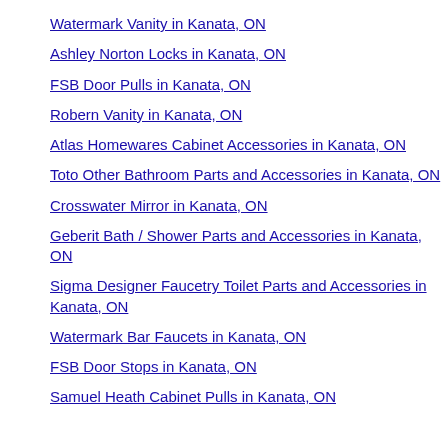Watermark Vanity in Kanata, ON
Ashley Norton Locks in Kanata, ON
FSB Door Pulls in Kanata, ON
Robern Vanity in Kanata, ON
Atlas Homewares Cabinet Accessories in Kanata, ON
Toto Other Bathroom Parts and Accessories in Kanata, ON
Crosswater Mirror in Kanata, ON
Geberit Bath / Shower Parts and Accessories in Kanata, ON
Sigma Designer Faucetry Toilet Parts and Accessories in Kanata, ON
Watermark Bar Faucets in Kanata, ON
FSB Door Stops in Kanata, ON
Samuel Heath Cabinet Pulls in Kanata, ON